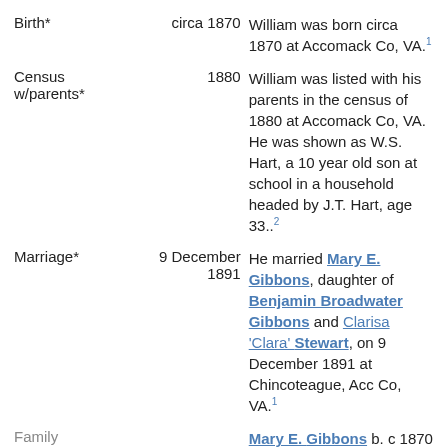| Event | Date | Description |
| --- | --- | --- |
| Birth* | circa 1870 | William was born circa 1870 at Accomack Co, VA.[1] |
| Census w/parents* | 1880 | William was listed with his parents in the census of 1880 at Accomack Co, VA. He was shown as W.S. Hart, a 10 year old son at school in a household headed by J.T. Hart, age 33..[2] |
| Marriage* | 9 December 1891 | He married Mary E. Gibbons, daughter of Benjamin Broadwater Gibbons and Clarisa 'Clara' Stewart, on 9 December 1891 at Chincoteague, Acc Co, VA.[1] |
| Family |  | Mary E. Gibbons b. c 1870 |